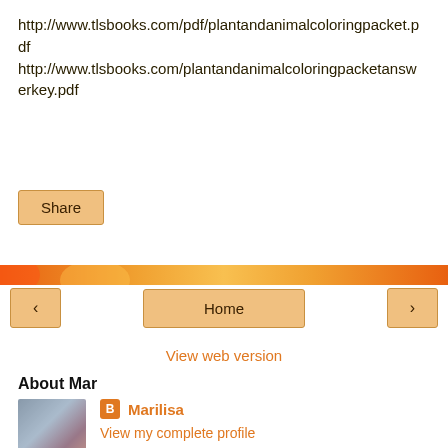http://www.tlsbooks.com/pdf/plantandanimalcoloringpacket.pdf
http://www.tlsbooks.com/plantandanimalcoloringpacketanswerkey.pdf
Share
Home
View web version
About Mar
Marilisa
View my complete profile